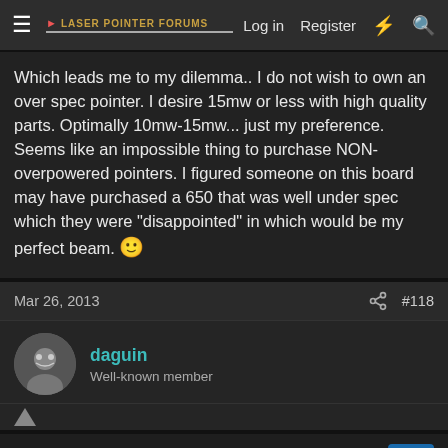Laser Pointer Forums — Log in  Register
Which leads me to my dilemma.. I do not wish to own an over spec pointer. I desire 15mw or less with high quality parts. Optimally 10mw-15mw... just my preference. Seems like an impossible thing to purchase NON-overpowered pointers. I figured someone on this board may have purchased a 650 that was well under spec which they were "disappointed" in which would be my perfect beam. 🙂
Mar 26, 2013  #118
daguin
Well-known member
Re: MUST Read BEFORE You Can Post in the Buy/Sell/Trade Board
There were LONG and complex discussions before the rules